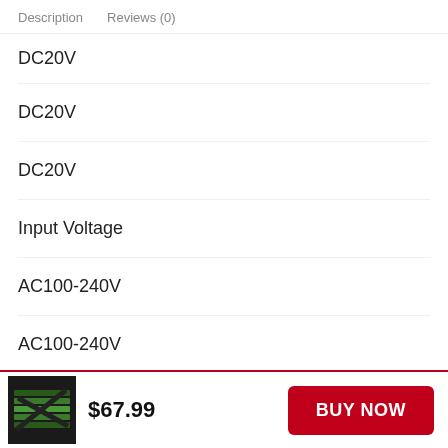Description   Reviews (0)
DC20V
DC20V
DC20V
Input Voltage
AC100-240V
AC100-240V
$67.99   BUY NOW